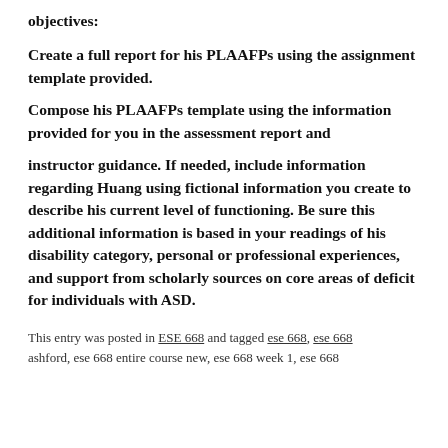objectives:
Create a full report for his PLAAFPs using the assignment template provided.
Compose his PLAAFPs template using the information provided for you in the assessment report and
instructor guidance. If needed, include information regarding Huang using fictional information you create to describe his current level of functioning. Be sure this additional information is based in your readings of his disability category, personal or professional experiences, and support from scholarly sources on core areas of deficit for individuals with ASD.
This entry was posted in ESE 668 and tagged ese 668, ese 668 ashford, ese 668 entire course new, ese 668 week 1, ese 668